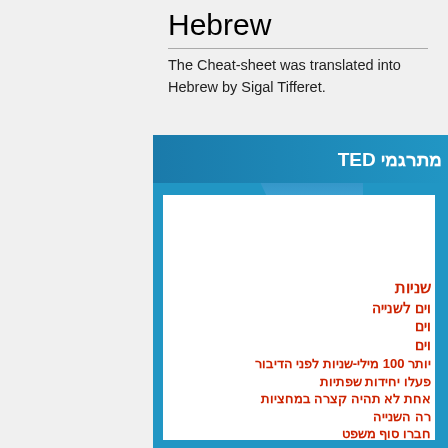Hebrew
The Cheat-sheet was translated into Hebrew by Sigal Tifferet.
[Figure (infographic): A TED translators cheat-sheet infographic in Hebrew. Blue bordered document with header bar showing 'מתרגמי TED' in white bold text on blue background, with Hebrew red bold text lines listing translation guidelines.]